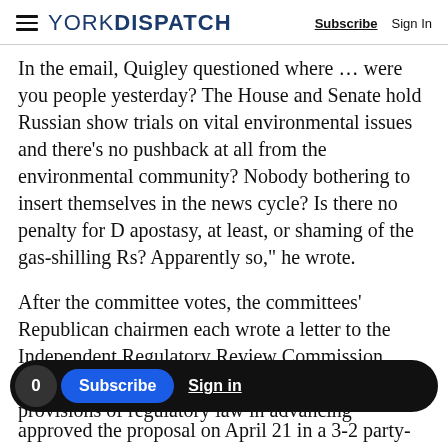YORK DISPATCH | Subscribe  Sign In
In the email, Quigley questioned  where ... were you people yesterday? The House and Senate hold Russian show trials on vital environmental issues and there's no pushback at all from the environmental community? Nobody bothering to insert themselves in the news cycle? Is there no penalty for D apostasy, at least, or shaming of the gas-shilling Rs? Apparently so," he wrote.
After the committee votes, the committees' Republican chairmen each wrote a letter to the Independent Regulatory Review Commission saying Quigley's department had blatantly violated provisions of regulatory law in advancing
approved the proposal on April 21 in a 3-2 party-